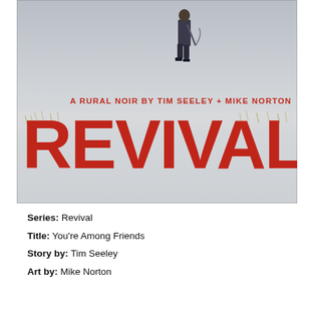[Figure (illustration): Book cover for 'Revival' - A Rural Noir by Tim Seeley + Mike Norton. Large red bold text 'REVIVAL' dominates the lower half over a grey snowy/foggy background. A figure walks away in the upper portion. Subtitle above the title reads 'A RURAL NOIR BY TIM SEELEY + MIKE NORTON'.]
Series: Revival
Title: You're Among Friends
Story by: Tim Seeley
Art by: Mike Norton